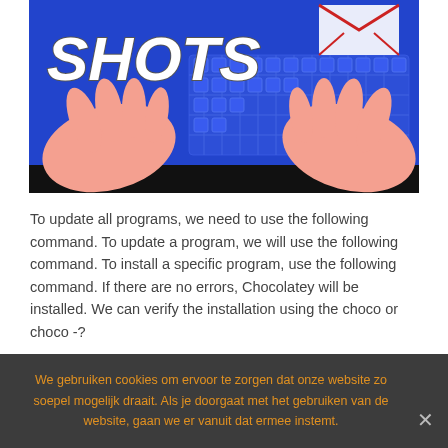[Figure (illustration): Illustrated banner showing hands typing on a keyboard with the word SHOTS in bold white italic text on a blue background]
To update all programs, we need to use the following command. To update a program, we will use the following command. To install a specific program, use the following command. If there are no errors, Chocolatey will be installed. We can verify the installation using the choco or choco -?
They find difficult in understanding and solving
We gebruiken cookies om ervoor te zorgen dat onze website zo soepel mogelijk draait. Als je doorgaat met het gebruiken van de website, gaan we er vanuit dat ermee instemt.